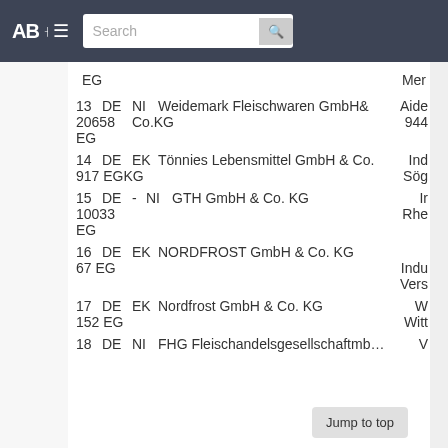AB Search
EG   Mer
13   DE  NI   Weidemark Fleischwaren GmbH&  Aide
20658   Co.KG   944
EG
14   DE  EK   Tönnies Lebensmittel GmbH & Co.   Ind
917 EG   KG   Sög
15   DE  -  NI   GTH GmbH & Co. KG   Ir
10033   Rhe
EG
16   DE  EK   NORDFROST GmbH & Co. KG
67 EG   Indu
Vers
17   DE  EK   Nordfrost GmbH & Co. KG   W
152 EG   Witt
18   DE  NI   FHG Fleischandelsgesellschaftmb...   V